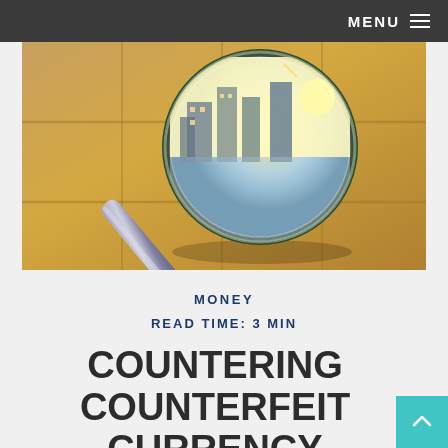MENU ☰
[Figure (photo): Close-up photo of a magnifying glass resting on golden/sandy textured tiles, with city buildings and sunlight reflected in the glass lens]
MONEY
READ TIME: 3 MIN
COUNTERING COUNTERFEIT CURRENCY